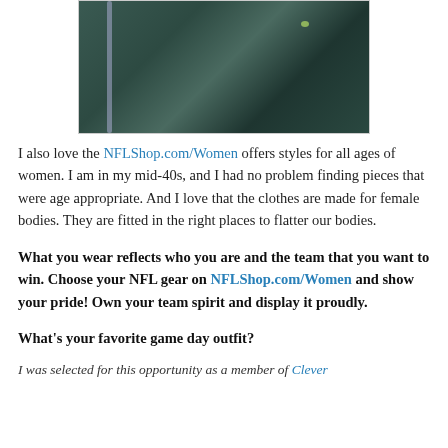[Figure (photo): Close-up photo of dark teal/green textured fabric with a thin light purple/lavender zipper or stripe on the left side and a small yellow-green detail on the right.]
I also love the NFLShop.com/Women offers styles for all ages of women. I am in my mid-40s, and I had no problem finding pieces that were age appropriate. And I love that the clothes are made for female bodies. They are fitted in the right places to flatter our bodies.
What you wear reflects who you are and the team that you want to win. Choose your NFL gear on NFLShop.com/Women and show your pride! Own your team spirit and display it proudly.
What's your favorite game day outfit?
I was selected for this opportunity as a member of Clever Girls...